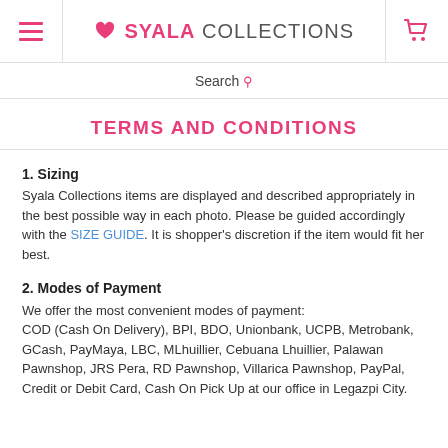SYALA COLLECTIONS
Search
TERMS AND CONDITIONS
1. Sizing
Syala Collections items are displayed and described appropriately in the best possible way in each photo. Please be guided accordingly with the SIZE GUIDE. It is shopper's discretion if the item would fit her best.
2. Modes of Payment
We offer the most convenient modes of payment:
COD (Cash On Delivery), BPI, BDO, Unionbank, UCPB, Metrobank, GCash, PayMaya, LBC, MLhuillier, Cebuana Lhuillier, Palawan Pawnshop, JRS Pera, RD Pawnshop, Villarica Pawnshop, PayPal, Credit or Debit Card, Cash On Pick Up at our office in Legazpi City.